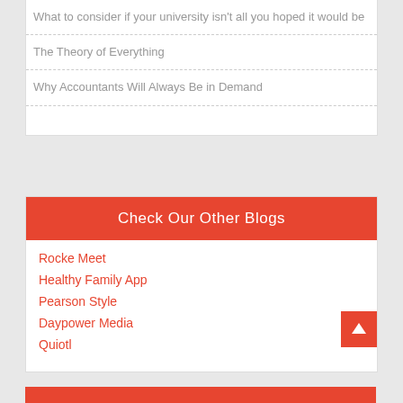What to consider if your university isn't all you hoped it would be
The Theory of Everything
Why Accountants Will Always Be in Demand
Check Our Other Blogs
Rocke Meet
Healthy Family App
Pearson Style
Daypower Media
Quiotl